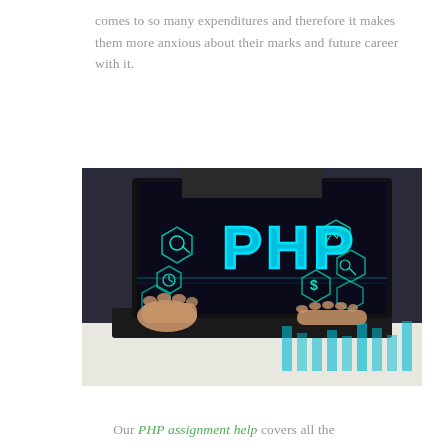comes to so many expenditures and therefore it makes them more anxious about their marks and future career with it.
[Figure (photo): A person holding a laptop displaying the word PHP in large cyan/teal text, surrounded by hexagonal technology icons including a key, chart, dollar sign, and other symbols on a dark background. Papers and documents are visible on the desk.]
Our PHP assignment help covers all the